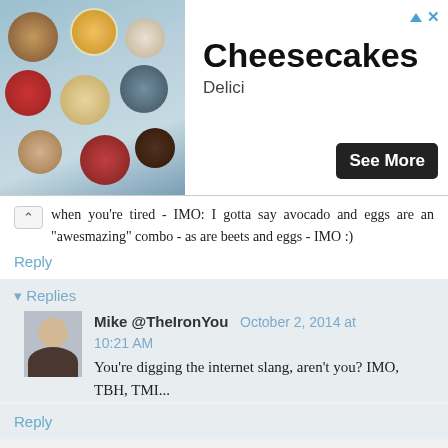[Figure (photo): Advertisement banner for Cheesecakes by Delici, with food photo on left showing desserts in jars/cups, title 'Cheesecakes', subtitle 'Delici', and a 'See More' button on dark background.]
when you're tired - IMO: I gotta say avocado and eggs are an "awesmazing" combo - as are beets and eggs - IMO :)
Reply
▾ Replies
Mike @TheIronYou   October 2, 2014 at 10:21 AM
You're digging the internet slang, aren't you? IMO, TBH, TMI...
Reply